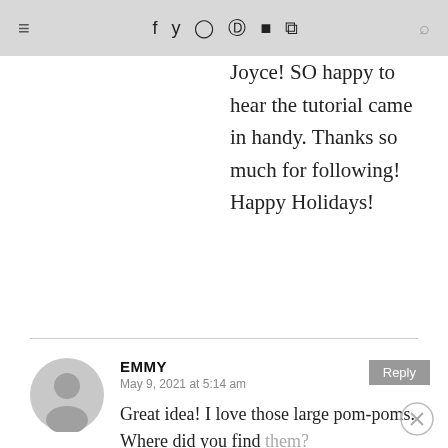≡  f  Twitter  Instagram  Pinterest  YouTube  RSS  Search
Joyce! SO happy to hear the tutorial came in handy. Thanks so much for following! Happy Holidays!
EMMY
May 9, 2021 at 5:14 am
Great idea! I love those large pom-poms. Where did you find them?